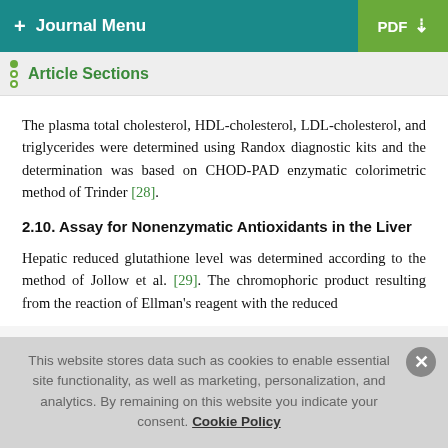+ Journal Menu | PDF ↓
Article Sections
The plasma total cholesterol, HDL-cholesterol, LDL-cholesterol, and triglycerides were determined using Randox diagnostic kits and the determination was based on CHOD-PAD enzymatic colorimetric method of Trinder [28].
2.10. Assay for Nonenzymatic Antioxidants in the Liver
Hepatic reduced glutathione level was determined according to the method of Jollow et al. [29]. The chromophoric product resulting from the reaction of Ellman's reagent with the reduced
This website stores data such as cookies to enable essential site functionality, as well as marketing, personalization, and analytics. By remaining on this website you indicate your consent. Cookie Policy